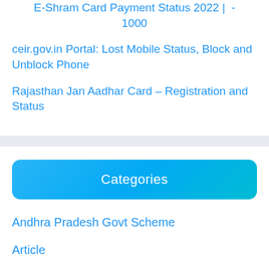E-Shram Card Payment Status 2022 | - - 1000
ceir.gov.in Portal: Lost Mobile Status, Block and Unblock Phone
Rajasthan Jan Aadhar Card – Registration and Status
Categories
Andhra Pradesh Govt Scheme
Article
Assam Govt Scheme